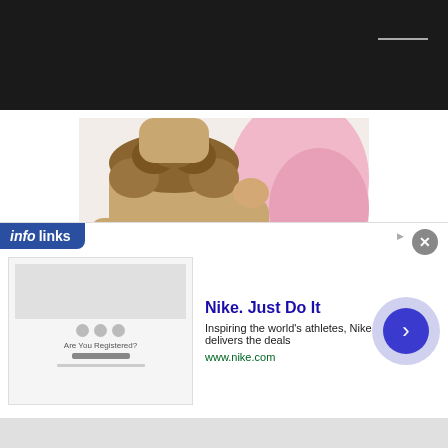[Figure (photo): Two children dressed in lion Halloween costumes. One larger child stands wearing a tan lion onesie with a ruffled mane collar. A smiling baby sits in a matching lion costume with a hooded mane. Pink paw print accessories visible in background.]
RECENT POSTS
[Figure (screenshot): Infolinks advertisement overlay showing a Nike ad. The ad has the infolinks logo badge in blue on the top left, a close button (x) on the top right, a thumbnail image of a webpage on the left, Nike ad text in the center reading 'Nike. Just Do It' with description 'Inspiring the world's athletes, Nike delivers the deals' and URL 'www.nike.com', and a blue circular arrow navigation button on the right.]